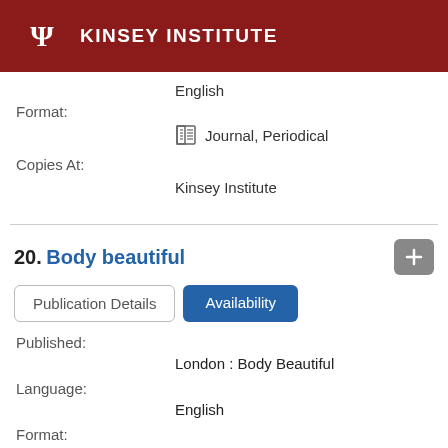KINSEY INSTITUTE
English
Format:
Journal, Periodical
Copies At:
Kinsey Institute
20. Body beautiful
Publication Details
Availability
Published:
London : Body Beautiful
Language:
English
Format: